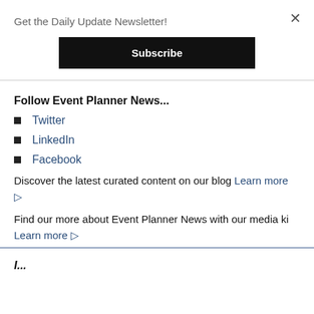Get the Daily Update Newsletter!
Subscribe
Follow Event Planner News...
Twitter
LinkedIn
Facebook
Discover the latest curated content on our blog Learn more ▷
Find our more about Event Planner News with our media ki... Learn more ▷
I...